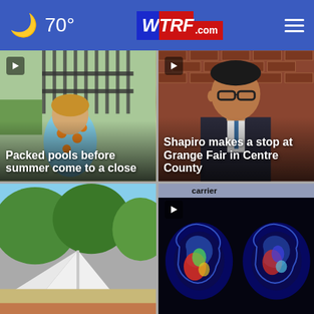70° WTRF.com
[Figure (photo): Video thumbnail of a young child at a pool, wearing a light blue polka dot outfit, with a fence and greenery in background. Headline overlay reads 'Packed pools before summer come to a close']
[Figure (photo): Video thumbnail of a man in a dark suit and glasses (Shapiro) against a brick wall background. Headline overlay reads 'Shapiro makes a stop at Grange Fair in Centre County']
[Figure (photo): Photo of an outdoor scene with greenery, white tent or umbrella visible]
[Figure (photo): Video thumbnail of brain MRI scans in cross-section, colorized in blue/red/green on dark background, with 'carrier' label at top and play button]